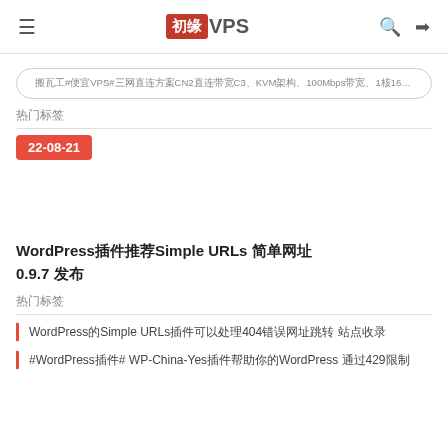初缘VPS
搬瓦工#便宜VPS#三网直连方案CN2直连带宽C3、KVM架构、100Mbps带宽、1核160M、150元/月
热门标签
22-08-21
WordPress插件推荐Simple URLs 简单网址 0.9.7 发布
热门标签
WordPress的Simple URLs插件可以处理404错误网址跳转 站点收录
#WordPress插件# WP-China-Yes插件帮助你的WordPress 通过429限制